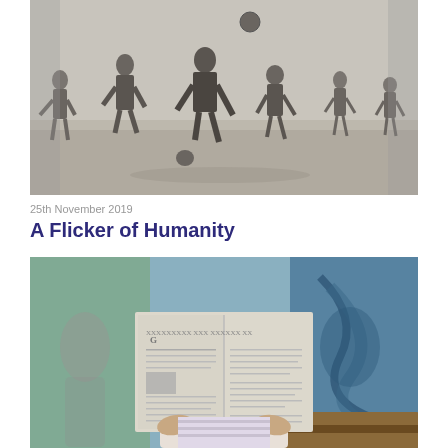[Figure (photo): Black and white historical photograph of soldiers playing football (soccer) on an open dusty field, with a ball visible in the air above them. Multiple soldiers in WWI-era uniforms are running and competing for the ball.]
25th November 2019
A Flicker of Humanity
[Figure (photo): Color photograph of a person sitting outdoors holding up an open newspaper in front of their face, obscuring their identity. A colorful mural/graffiti wall is visible in the background.]